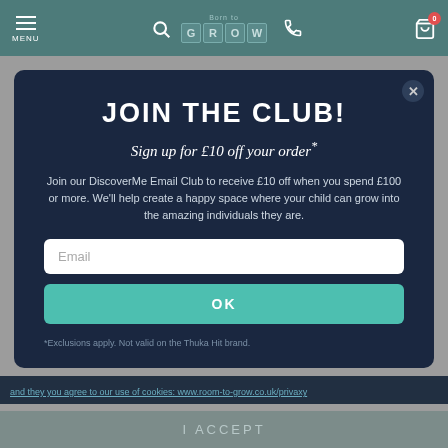[Figure (screenshot): Website navigation bar with teal background showing hamburger menu labeled MENU, search icon, Born to Grow logo with tile letters, phone icon, and shopping cart icon with badge showing 0]
JOIN THE CLUB!
Sign up for £10 off your order*
Join our DiscoverMe Email Club to receive £10 off when you spend £100 or more. We'll help create a happy space where your child can grow into the amazing individuals they are.
Email
OK
*Exclusions apply. Not valid on the Thuka Hit brand.
I ACCEPT